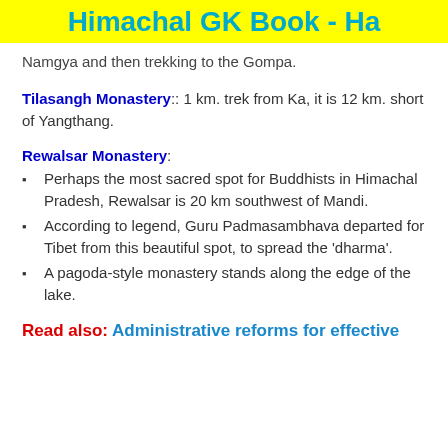Himachal GK Book - Ha
Namgya and then trekking to the Gompa.
Tilasangh Monastery:: 1 km. trek from Ka, it is 12 km. short of Yangthang.
Rewalsar Monastery:
Perhaps the most sacred spot for Buddhists in Himachal Pradesh, Rewalsar is 20 km southwest of Mandi.
According to legend, Guru Padmasambhava departed for Tibet from this beautiful spot, to spread the 'dharma'.
A pagoda-style monastery stands along the edge of the lake.
Read also: Administrative reforms for effective